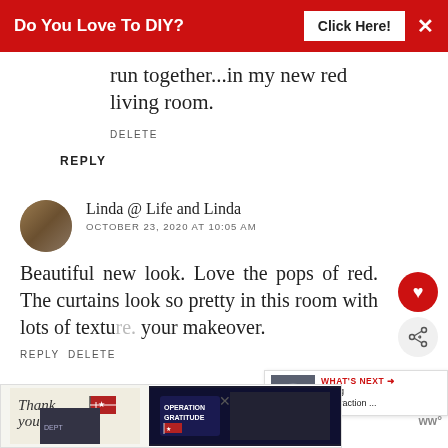Do You Love To DIY? Click Here!
run together...in my new red living room.
DELETE
REPLY
Linda @ Life and Linda
OCTOBER 23, 2020 AT 10:05 AM
Beautiful new look. Love the pops of red. The curtains look so pretty in this room with lots of texture. your makeover.
REPLY DELETE
[Figure (infographic): WHAT'S NEXT arrow label with thumbnail image and text 'Using Subtraction ...']
[Figure (infographic): Bottom banner ad: Thank you with Operation Gratitude imagery]